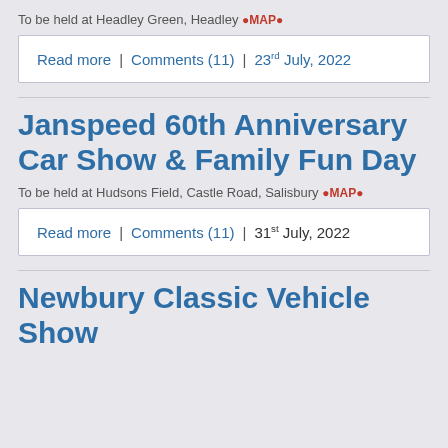To be held at Headley Green, Headley 🔴MAP🔴
Read more | Comments (11) | 23rd July, 2022
Janspeed 60th Anniversary Car Show & Family Fun Day
To be held at Hudsons Field, Castle Road, Salisbury 🔴MAP🔴
Read more | Comments (11) | 31st July, 2022
Newbury Classic Vehicle Show